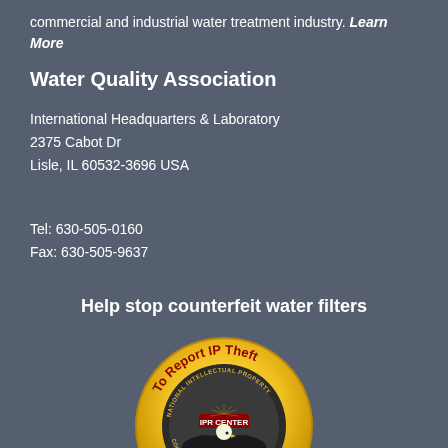commercial and industrial water treatment industry. Learn More
Water Quality Association
International Headquarters & Laboratory
2375 Cabot Dr
Lisle, IL 60532-3696 USA
Tel: 630-505-0160
Fax: 630-505-9637
Help stop counterfeit water filters
[Figure (logo): IPR Center National Intellectual Property Rights badge - circular gold badge with eagle emblem and text 'To Report IP Theft']